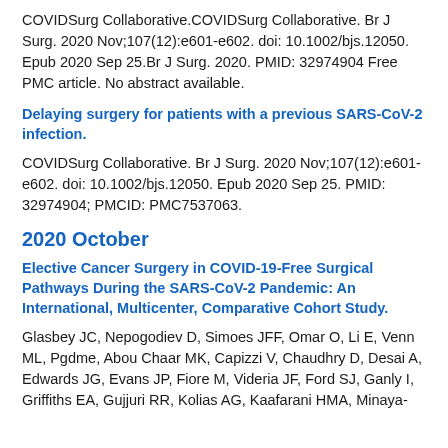COVIDSurg Collaborative.COVIDSurg Collaborative. Br J Surg. 2020 Nov;107(12):e601-e602. doi: 10.1002/bjs.12050. Epub 2020 Sep 25.Br J Surg. 2020. PMID: 32974904 Free PMC article. No abstract available.
Delaying surgery for patients with a previous SARS-CoV-2 infection.
COVIDSurg Collaborative. Br J Surg. 2020 Nov;107(12):e601-e602. doi: 10.1002/bjs.12050. Epub 2020 Sep 25. PMID: 32974904; PMCID: PMC7537063.
2020 October
Elective Cancer Surgery in COVID-19-Free Surgical Pathways During the SARS-CoV-2 Pandemic: An International, Multicenter, Comparative Cohort Study.
Glasbey JC, Nepogodiev D, Simoes JFF, Omar O, Li E, Venn ML, Pgdme, Abou Chaar MK, Capizzi V, Chaudhry D, Desai A, Edwards JG, Evans JP, Fiore M, Videria JF, Ford SJ, Ganly I, Griffiths EA, Gujjuri RR, Kolias AG, Kaafarani HMA, Minaya-